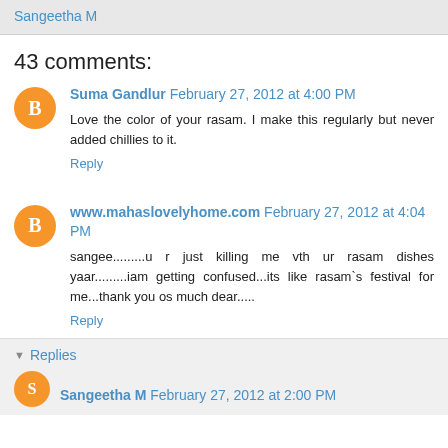Sangeetha M
43 comments:
Suma Gandlur  February 27, 2012 at 4:00 PM
Love the color of your rasam. I make this regularly but never added chillies to it.
Reply
www.mahaslovelyhome.com  February 27, 2012 at 4:04 PM
sangee.........u r just killing me vth ur rasam dishes yaar.........iam getting confused...its like rasam`s festival for me...thank you os much dear.....
Reply
Replies
Sangeetha M  February 27, 2012 at 2:00 PM